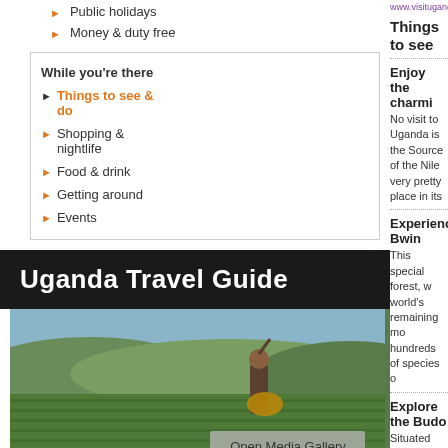Public holidays
Money & duty free
While you're there
Things to see & do
Shopping & nightlife
Food & drink
Getting around
Events
Uganda Travel Guide
[Figure (photo): Man in a field holding a basket with hills in background, Uganda landscape]
Open Media Gallery
By using worldtravelguide.net you agree to our cookies and privacy policies.  For m
www.visituganda.com
Things to see
Enjoy the charmi
No visit to Uganda is the Source of the Nile very pretty place in its
Experience Bwin
This special forest, w world's remaining mo hundreds of species o
Explore the Budo
Situated near Masind Africa and one of the population, along with implausibly cute potto
Get out and about
With breath-taking vie Gorilla National Park the town with lakes.